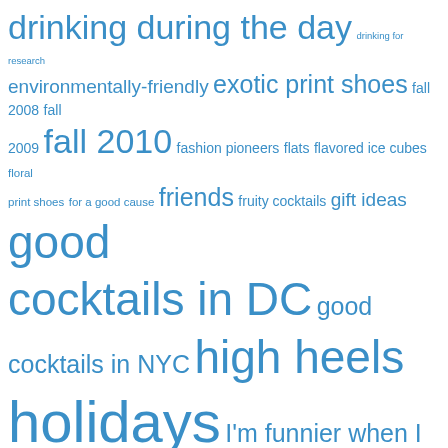[Figure (infographic): A tag cloud (word cloud) with various blog/website tags rendered in different font sizes in blue color. Larger tags indicate more popular/frequent topics. Tags include: drinking during the day, drinking for research, environmentally-friendly, exotic print shoes, fall 2008, fall 2009, fall 2010, fashion pioneers, flats, flavored ice cubes, floral print shoes, for a good cause, friends, fruity cocktails, gift ideas, good cocktails in DC, good cocktails in NYC, high heels, holidays, I'm funnier when I drink, if you are wearing this then you're probably drinking a, infused simple syrup, is it cocktail hour yet?, j.crew, kate spade, lake trip, latest news in cocktails, latest news in footwear, margarita, martini, maybe I have image issues, mocktails, nine west, oxfords, peep-toe pumps, pimm's cup, platforms, project runway shoe pairing, punch, pure elegance, red wine, S&C advice, S&C alerts, S&C diversion]